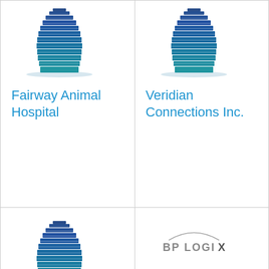[Figure (logo): Building icon for Fairway Animal Hospital]
Fairway Animal Hospital
[Figure (logo): Building icon for Veridian Connections Inc.]
Veridian Connections Inc.
[Figure (logo): Building icon for North Country Regional Hospital]
North Country Regional Hospital
[Figure (logo): BP Logix logo]
BP Logix, Inc.
Software company
[Figure (logo): Building icon, bottom left]
[Figure (logo): Building icon, bottom right]